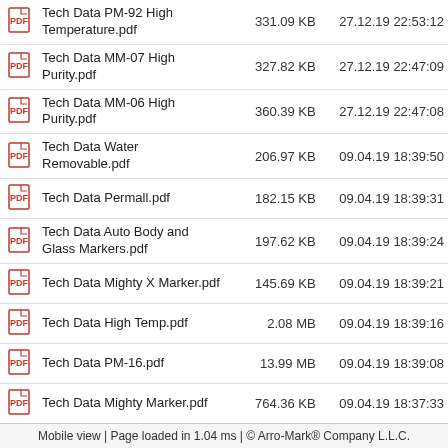|  | Name | Size | Date |
| --- | --- | --- | --- |
| [pdf] | Tech Data PM-92 High Temperature.pdf | 331.09 KB | 27.12.19 22:53:12 |
| [pdf] | Tech Data MM-07 High Purity.pdf | 327.82 KB | 27.12.19 22:47:09 |
| [pdf] | Tech Data MM-06 High Purity.pdf | 360.39 KB | 27.12.19 22:47:08 |
| [pdf] | Tech Data Water Removable.pdf | 206.97 KB | 09.04.19 18:39:50 |
| [pdf] | Tech Data Permall.pdf | 182.15 KB | 09.04.19 18:39:31 |
| [pdf] | Tech Data Auto Body and Glass Markers.pdf | 197.62 KB | 09.04.19 18:39:24 |
| [pdf] | Tech Data Mighty X Marker.pdf | 145.69 KB | 09.04.19 18:39:21 |
| [pdf] | Tech Data High Temp.pdf | 2.08 MB | 09.04.19 18:39:16 |
| [pdf] | Tech Data PM-16.pdf | 13.99 MB | 09.04.19 18:39:08 |
| [pdf] | Tech Data Mighty Marker.pdf | 764.36 KB | 09.04.19 18:37:33 |
| [pdf] | Tech Data Mighty Marker Ball Point.pdf | 206 KB | 09.04.19 18:36:45 |
| [pdf] | Tech Data Mighty Marker DG.pdf | 178.62 KB | 09.04.19 18:36:42 |
Mobile view | Page loaded in 1.04 ms | © Arro-Mark® Company L.L.C.